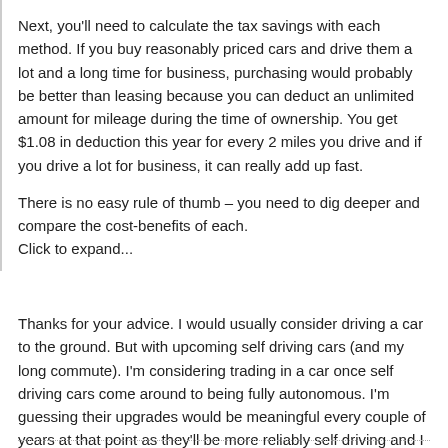Next, you'll need to calculate the tax savings with each method. If you buy reasonably priced cars and drive them a lot and a long time for business, purchasing would probably be better than leasing because you can deduct an unlimited amount for mileage during the time of ownership. You get $1.08 in deduction this year for every 2 miles you drive and if you drive a lot for business, it can really add up fast.

There is no easy rule of thumb – you need to dig deeper and compare the cost-benefits of each.
Click to expand...
Thanks for your advice. I would usually consider driving a car to the ground. But with upcoming self driving cars (and my long commute). I'm considering trading in a car once self driving cars come around to being fully autonomous. I'm guessing their upgrades would be meaningful every couple of years at that point as they'll be more reliably self driving and I can work in the car while I'm being chauffeured to work by the car.